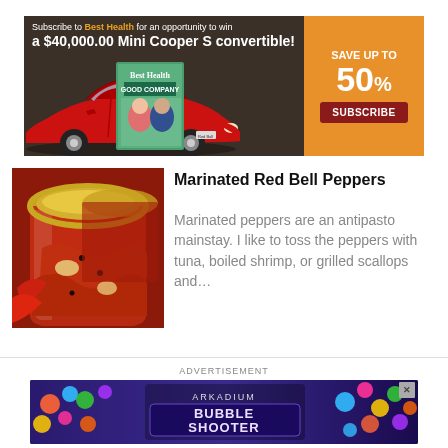[Figure (infographic): Best Health magazine subscription banner ad with red Mini Cooper S convertible, Save up to 50% subscribe offer on orange background]
[Figure (photo): Mason jars filled with marinated red bell peppers, close-up food photography]
Marinated Red Bell Peppers
Marinated peppers are an antipasto mainstay. I like to toss the peppers with tuna, boiled shrimp, or grilled scallops and...
ADVERTISEMENT
[Figure (screenshot): Arkadium Bubble Shooter game advertisement banner with colorful bubbles on dark purple background]